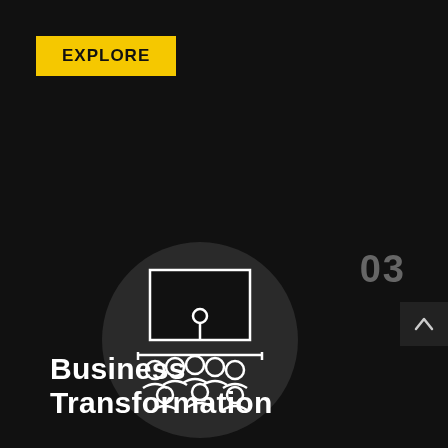EXPLORE
03
[Figure (illustration): Circular dark icon showing a presenter at a whiteboard/screen with an audience of people seated below, rendered in white line art on a dark circle background]
Business Transformation